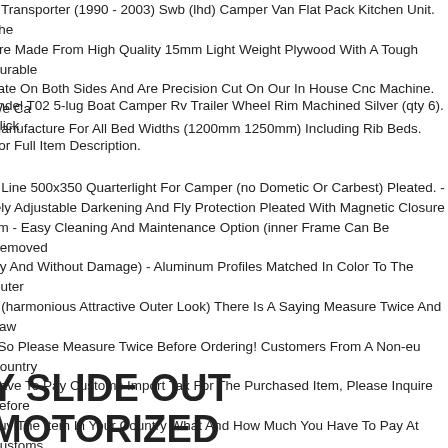4 Transporter (1990 - 2003) Swb (lhd) Camper Van Flat Pack Kitchen Unit. The Are Made From High Quality 15mm Light Weight Plywood With A Tough Durable nate On Both Sides And Are Precision Cut On Our In House Cnc Machine. We Ca Manufacture For All Bed Widths (1200mm 1250mm) Including Rib Beds.
endel T02 5-lug Boat Camper Rv Trailer Wheel Rim Machined Silver (qty 6). Click For Full Item Description.
o Line 500x350 Quarterlight For Camper (no Dometic Or Carbest) Pleated. - tely Adjustable Darkening And Fly Protection Pleated With Magnetic Closure em - Easy Cleaning And Maintenance Option (inner Frame Can Be Removed kly And Without Damage) - Aluminum Profiles Matched In Color To The Outer e (harmonious Attractive Outer Look) There Is A Saying Measure Twice And Saw . So Please Measure Twice Before Ordering! Customers From A Non-eu Country Have To Pay Customs Import Tax For The Purchased Item, Please Inquire Before Buy The Item In Your Country What And How Much You Have To Pay At Customs dition To The Purchased Item. Thank You! Customers From A Non-eu Country Have To Pay Customs Import Tax For The Purchased Item, Please Inquire Before Buy The Item In Your Country What And How Much You Have To Pay At Customs .
Y SLIDE OUT MOTORIZED RTRACTABLE AWNING FABRIC